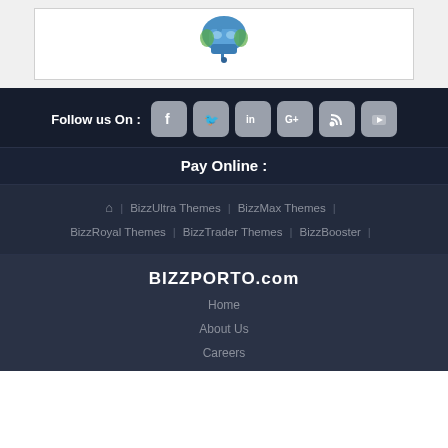[Figure (photo): Product image in a white bordered card on a light gray background]
Follow us On : [facebook] [twitter] [linkedin] [google+] [rss] [youtube]
Pay Online :
🏠 | BizzUltra Themes | BizzMax Themes | BizzRoyal Themes | BizzTrader Themes | BizzBooster |
BIZZPORTO.com
Home
About Us
Careers